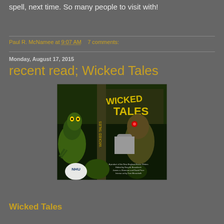spell, next time. So many people to visit with!
Paul R. McNamee at 9:07 AM   7 comments:
Monday, August 17, 2015
recent read; Wicked Tales
[Figure (photo): Book cover of 'Wicked Tales' showing horror-themed illustrated cover with monsters, creatures, and dark forest imagery. The title 'WICKED TALES' is displayed in yellow/gold text.]
Wicked Tales